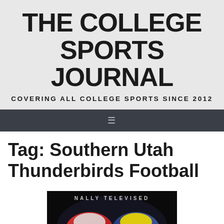THE COLLEGE SPORTS JOURNAL
COVERING ALL COLLEGE SPORTS SINCE 2012
Tag: Southern Utah Thunderbirds Football
[Figure (photo): Two football helmets facing each other on a dark background with text 'NALLY TELEVISED' visible at the top]